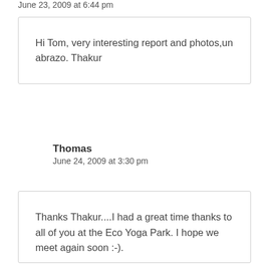June 23, 2009 at 6:44 pm
Hi Tom, very interesting report and photos,un abrazo. Thakur
Thomas
June 24, 2009 at 3:30 pm
Thanks Thakur....I had a great time thanks to all of you at the Eco Yoga Park. I hope we meet again soon :-).